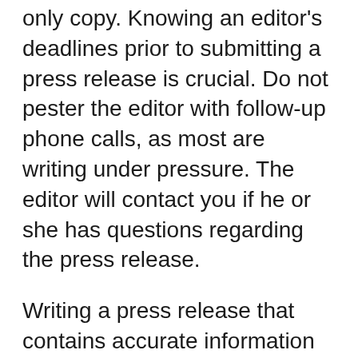only copy. Knowing an editor's deadlines prior to submitting a press release is crucial. Do not pester the editor with follow-up phone calls, as most are writing under pressure. The editor will contact you if he or she has questions regarding the press release.
Writing a press release that contains accurate information is your job, deciding whether or not a press release is newsworthy is the editor's job. You cannot control whether or not your press release will be deemed newsworthy, but if you follow the above guidelines, your release will have a much better chance of being considered for publication.